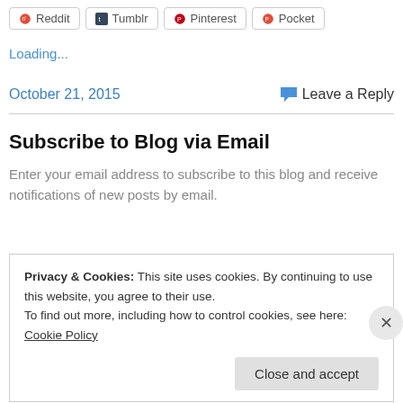[Figure (other): Social share buttons: Reddit, Tumblr, Pinterest, Pocket]
Loading...
October 21, 2015   Leave a Reply
Subscribe to Blog via Email
Enter your email address to subscribe to this blog and receive notifications of new posts by email.
Privacy & Cookies: This site uses cookies. By continuing to use this website, you agree to their use. To find out more, including how to control cookies, see here: Cookie Policy
Close and accept